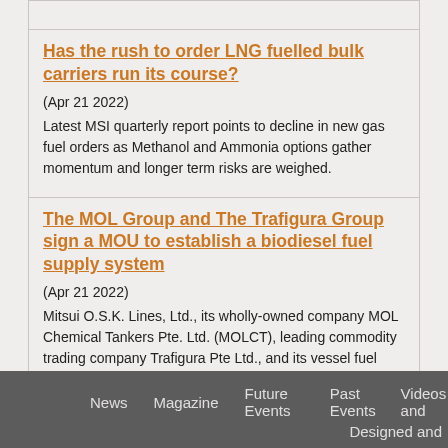Has the rush to order LNG fuelled bulk carriers run its course?
(Apr 21 2022)
Latest MSI quarterly report points to decline in new gas fuel orders as Methanol and Ammonia options gather momentum and longer term risks are weighed.
The MOL Group and The Trafigura Group sign a MOU to establish a biodiesel fuel supply system
(Apr 21 2022)
Mitsui O.S.K. Lines, Ltd., its wholly-owned company MOL Chemical Tankers Pte. Ltd. (MOLCT), leading commodity trading company Trafigura Pte Ltd., and its vessel fuel supply joint-venture company TFG Marine Pte Ltd, have signed a Memorandum of Underst...
News   Magazine   Future Events   Past Events   Videos and   Designed and